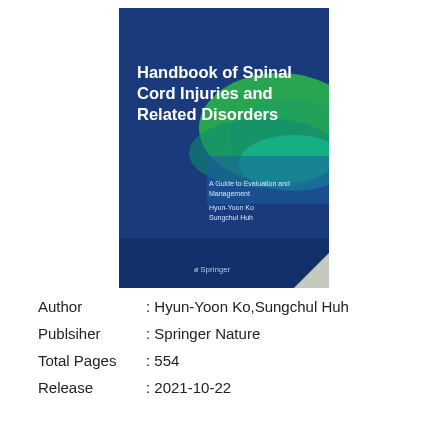[Figure (illustration): Book cover of 'Handbook of Spinal Cord Injuries and Related Disorders: A Guide to Evaluation and Management' by Hyun-Yoon Ko and Sungchul Huh, published by Springer. Dark blue cover with green abstract wave design and white title text.]
Author        : Hyun-Yoon Ko,Sungchul Huh
Publsiher     : Springer Nature
Total Pages   : 554
Release       : 2021-10-22